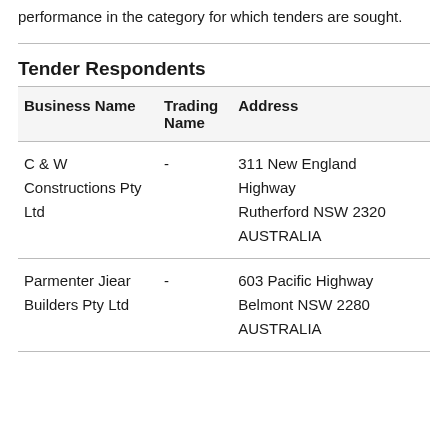performance in the category for which tenders are sought.
Tender Respondents
| Business Name | Trading Name | Address |
| --- | --- | --- |
| C & W Constructions Pty Ltd | - | 311 New England Highway Rutherford NSW 2320 AUSTRALIA |
| Parmenter Jiear Builders Pty Ltd | - | 603 Pacific Highway Belmont NSW 2280 AUSTRALIA |